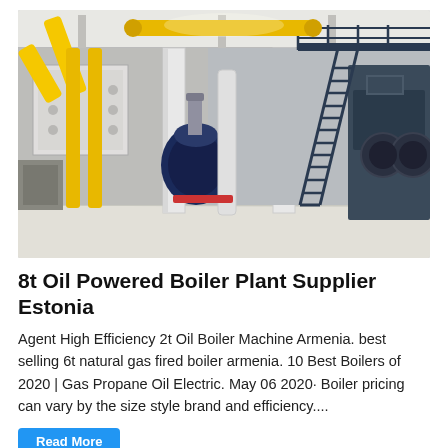[Figure (photo): Interior of an industrial boiler plant facility showing large boilers, yellow pipes, a metal staircase on the right leading up to an upper platform, white structural columns, and industrial equipment including a blue motor/pump unit in the center-left area. The facility has a bright, spacious interior with concrete floors.]
8t Oil Powered Boiler Plant Supplier Estonia
Agent High Efficiency 2t Oil Boiler Machine Armenia. best selling 6t natural gas fired boiler armenia. 10 Best Boilers of 2020 | Gas Propane Oil Electric. May 06 2020· Boiler pricing can vary by the size style brand and efficiency....